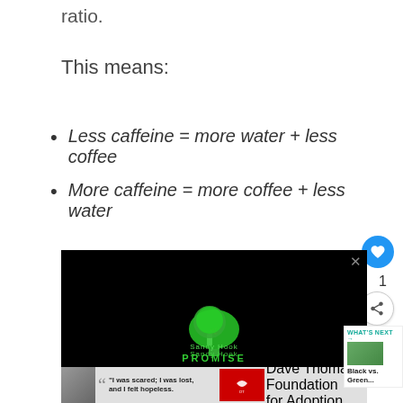ratio.
This means:
Less caffeine = more water + less coffee
More caffeine = more coffee + less water
[Figure (screenshot): Screenshot of a web page showing a Sandy Hook Promise advertisement video embed with a black background and Sandy Hook Promise logo (green tree made of hands with text). Below is a banner advertisement with a person's photo and text 'I was scared; I was lost, and I felt hopeless.' with Dave Thomas Foundation for Adoption logo. Social sharing UI elements are visible on the right: heart button (blue circle), count '1', and share button.]